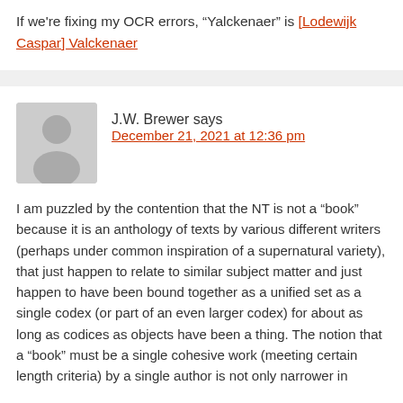If we're fixing my OCR errors, "Yalckenaer" is [Lodewijk Caspar] Valckenaer
J.W. Brewer says
December 21, 2021 at 12:36 pm
I am puzzled by the contention that the NT is not a "book" because it is an anthology of texts by various different writers (perhaps under common inspiration of a supernatural variety), that just happen to relate to similar subject matter and just happen to have been bound together as a unified set as a single codex (or part of an even larger codex) for about as long as codices as objects have been a thing. The notion that a "book" must be a single cohesive work (meeting certain length criteria) by a single author is not only narrower in